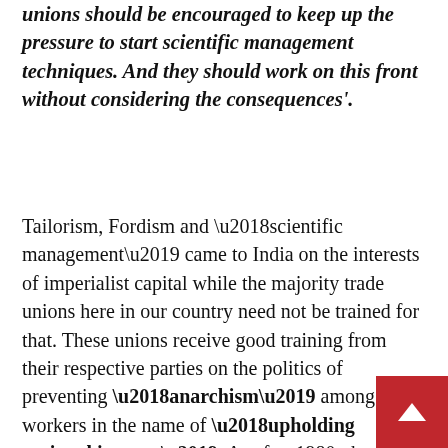unions should be encouraged to keep up the pressure to start scientific management techniques. And they should work on this front without considering the consequences'.
Tailorism, Fordism and ‘scientific management’ came to India on the interests of imperialist capital while the majority trade unions here in our country need not be trained for that. These unions receive good training from their respective parties on the politics of preventing ‘anarchism’ among the workers in the name of ‘upholding national interest’. As after 1980, the imperialist capital was coming in with its ‘good, fast and cheap’ production slogans, collaboration between the leaders of the unions and ruling class was necessary for such kind of ‘development’. So it was a necessity for the ‘anarchist’ workers to maintain a good conduct